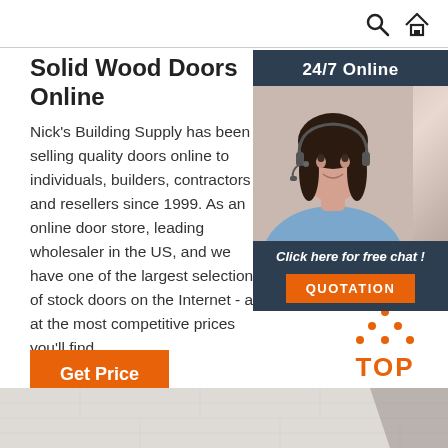Search and Home icons
Solid Wood Doors Online
Nick's Building Supply has been selling quality doors online to individuals, builders, contractors and resellers since 1999. As an online door store, leading wholesaler in the US, and we have one of the largest selections of stock doors on the Internet - all at the most competitive prices you'll find ...
Get Price
[Figure (infographic): 24/7 Online customer service widget with photo of woman wearing headset, 'Click here for free chat!' text, and orange QUOTATION button]
[Figure (logo): TOP badge with orange dotted triangle above orange text reading TOP]
[Figure (photo): Bottom strip showing light wood/floor surface]